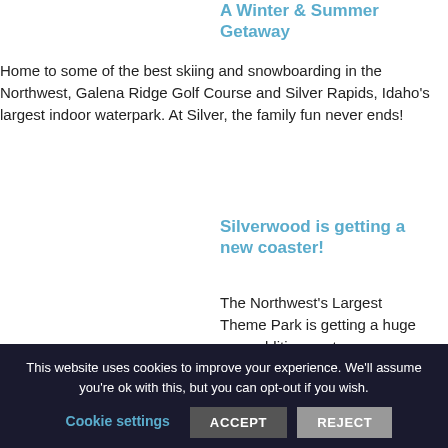A Winter & Summer Getaway
Home to some of the best skiing and snowboarding in the Northwest, Galena Ridge Golf Course and Silver Rapids, Idaho's largest indoor waterpark. At Silver, the family fun never ends!
Silverwood is getting a new coaster!
The Northwest's Largest Theme Park is getting a huge new addition next season. Introducing Stunt Pilot, the first single-rail coaster in the
This website uses cookies to improve your experience. We'll assume you're ok with this, but you can opt-out if you wish. Cookie settings ACCEPT REJECT